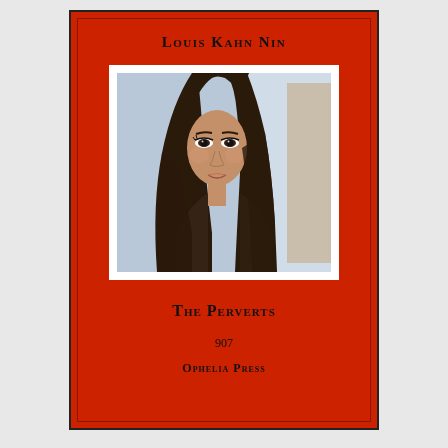Louis Kahn Nin
[Figure (photo): Photograph of a young woman with long dark straight hair, looking at the camera with a slight tilt, wearing dark eye makeup, against a light blue/white background.]
The Perverts
907
Ophelia Press